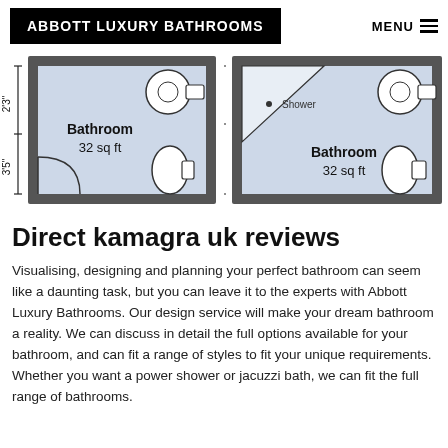ABBOTT LUXURY BATHROOMS
[Figure (engineering-diagram): Two bathroom floor plan diagrams side by side. Left: Bathroom 32 sq ft with dimensions 2'3" width and 3'5" height, showing toilet and sink. Right: Bathroom 32 sq ft with dimensions 2'11" and 2'9", showing shower, toilet and sink.]
Direct kamagra uk reviews
Visualising, designing and planning your perfect bathroom can seem like a daunting task, but you can leave it to the experts with Abbott Luxury Bathrooms. Our design service will make your dream bathroom a reality. We can discuss in detail the full options available for your bathroom, and can fit a range of styles to fit your unique requirements. Whether you want a power shower or jacuzzi bath, we can fit the full range of bathrooms.